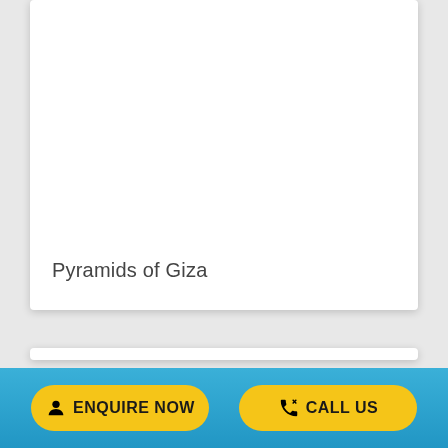[Figure (other): White card panel (top) — image placeholder area, mostly blank white]
Pyramids of Giza
[Figure (other): White card panel (bottom) — image placeholder area, blank white]
[Figure (other): Blue footer bar with two yellow buttons: ENQUIRE NOW and CALL US]